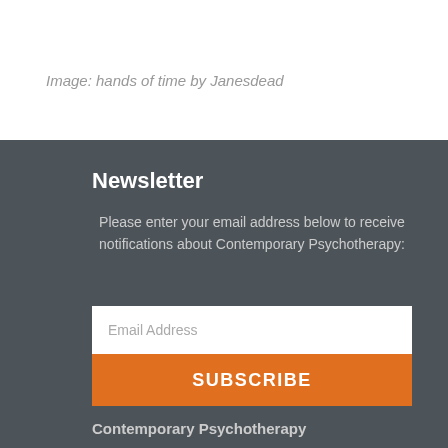Image: hands of time by Janesdead
Newsletter
Please enter your email address below to receive notifications about Contemporary Psychotherapy:
Email Address
SUBSCRIBE
Contemporary Psychotherapy